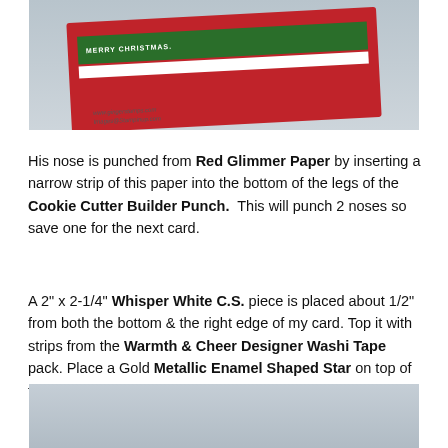[Figure (photo): Photo of a red Christmas card with a green strip reading 'MERRY CHRISTMAS', white strip, and a decorative element. Watermark text visible: www.gingerstamps.com, Images@Stampinup.com]
His nose is punched from Red Glimmer Paper by inserting a narrow strip of this paper into the bottom of the legs of the Cookie Cutter Builder Punch. This will punch 2 noses so save one for the next card.
A 2" x 2-1/4" Whisper White C.S. piece is placed about 1/2" from both the bottom & the right edge of my card. Top it with strips from the Warmth & Cheer Designer Washi Tape pack. Place a Gold Metallic Enamel Shaped Star on top of the Washi Tape tree as shown.
[Figure (photo): Partial photo at bottom of page showing what appears to be a light blue/gray background, beginning of another card photo cropped at page edge.]